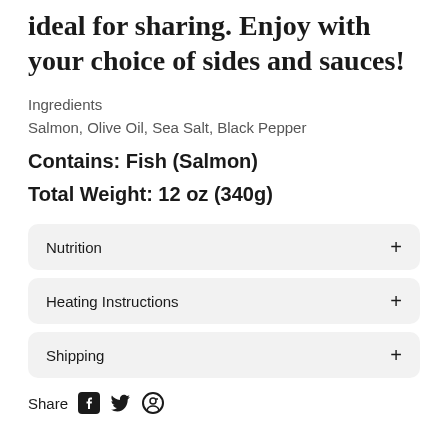ideal for sharing. Enjoy with your choice of sides and sauces!
Ingredients
Salmon, Olive Oil, Sea Salt, Black Pepper
Contains: Fish (Salmon)
Total Weight: 12 oz (340g)
Nutrition +
Heating Instructions +
Shipping +
Share